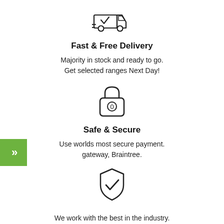[Figure (illustration): Delivery truck icon with checkmark]
Fast & Free Delivery
Majority in stock and ready to go. Get selected ranges Next Day!
[Figure (illustration): Padlock icon with '0' label]
Safe & Secure
Use worlds most secure payment. gateway, Braintree.
[Figure (illustration): Shield with checkmark icon]
We work with the best in the industry. Enjoy the highest quality.